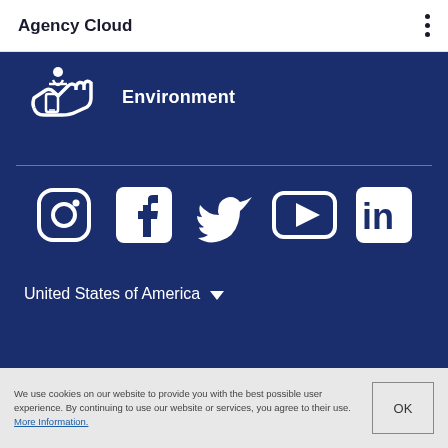Agency Cloud
[Figure (illustration): Hand holding a phone icon with 'Environment' text label on dark blue background]
[Figure (illustration): Row of five social media icons: Instagram, Facebook, Twitter, YouTube, LinkedIn on dark blue background]
United States of America
We use cookies on our website to provide you with the best possible user experience. By continuing to use our website or services, you agree to their use. More Information.